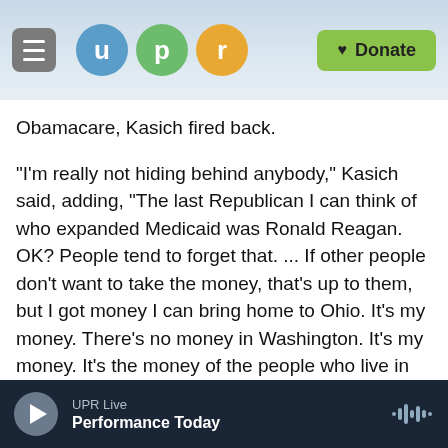UPR - u p r - Donate
Obamacare, Kasich fired back.
"I'm really not hiding behind anybody," Kasich said, adding, "The last Republican I can think of who expanded Medicaid was Ronald Reagan. OK? People tend to forget that. ... If other people don't want to take the money, that's up to them, but I got money I can bring home to Ohio. It's my money. There's no money in Washington. It's my money. It's the money of the people who live in my state."
To the specific charge from Jindal and Haley — who chose not to expand Medicaid — that he was using
UPR Live
Performance Today